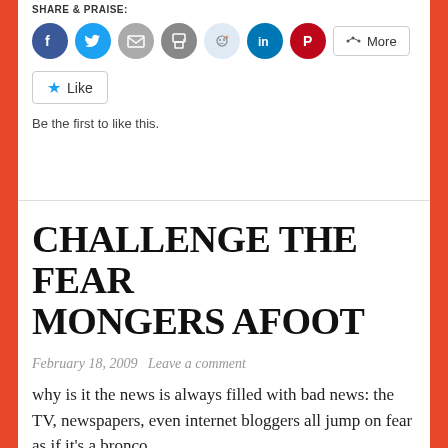SHARE & PRAISE:
[Figure (other): Social sharing icons: Facebook (blue circle), Twitter (blue circle), Email (gray circle), Print (gray circle), Reddit (light blue circle), LinkedIn (dark blue circle), Pinterest (red circle), and a More button]
[Figure (other): Like button with star icon]
Be the first to like this.
CHALLENGE THE FEAR MONGERS AFOOT
February 18, 2009   Leave a comment
why is it the news is always filled with bad news: the TV, newspapers, even internet bloggers all jump on fear as if it's a bronco